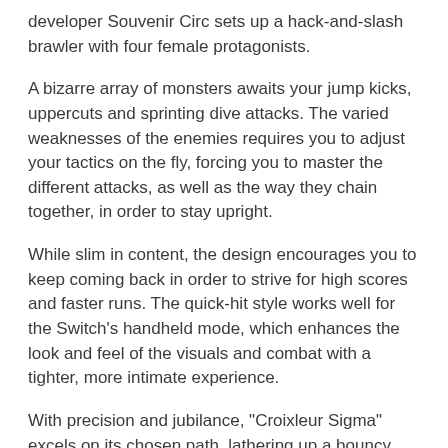developer Souvenir Circ sets up a hack-and-slash brawler with four female protagonists.
A bizarre array of monsters awaits your jump kicks, uppercuts and sprinting dive attacks. The varied weaknesses of the enemies requires you to adjust your tactics on the fly, forcing you to master the different attacks, as well as the way they chain together, in order to stay upright.
While slim in content, the design encourages you to keep coming back in order to strive for high scores and faster runs. The quick-hit style works well for the Switch's handheld mode, which enhances the look and feel of the visuals and combat with a tighter, more intimate experience.
With precision and jubilance, "Croixleur Sigma" excels on its chosen path, lathering up a bouncy feel that keeps drawing you back in for more.
Publisher provided review code.